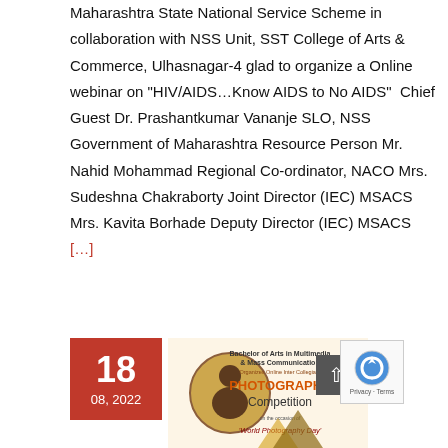Maharashtra State National Service Scheme in collaboration with NSS Unit, SST College of Arts & Commerce, Ulhasnagar-4 glad to organize a Online webinar on "HIV/AIDS…Know AIDS to No AIDS"  Chief Guest Dr. Prashantkumar Vananje SLO, NSS Government of Maharashtra Resource Person Mr. Nahid Mohammad Regional Co-ordinator, NACO Mrs. Sudeshna Chakraborty Joint Director (IEC) MSACS Mrs. Kavita Borhade Deputy Director (IEC) MSACS […]
[Figure (other): Date badge showing '18 / 08, 2022' in red box, alongside a promotional flyer for 'Bachelor of Arts in Multimedia & Mass Communication' online inter collegiate Photography Competition on occasion of World Photography Day]